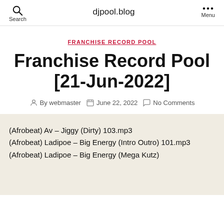djpool.blog | Search | Menu
FRANCHISE RECORD POOL
Franchise Record Pool [21-Jun-2022]
By webmaster   June 22, 2022   No Comments
(Afrobeat) Av – Jiggy (Dirty) 103.mp3
(Afrobeat) Ladipoe – Big Energy (Intro Outro) 101.mp3
(Afrobeat) Ladipoe – Big Energy (Mega Kutz)